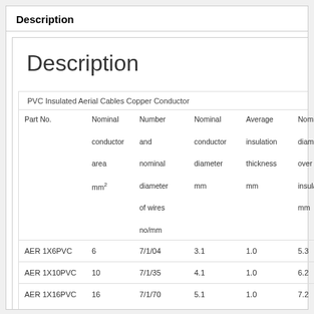Description
Description
PVC Insulated Aerial Cables Copper Conductor
| Part No. | Nominal conductor area mm² | Number and nominal diameter of wires no/mm | Nominal conductor diameter mm | Average insulation thickness mm | Nominal diameter over insulation mm | Approx mass kg/km |
| --- | --- | --- | --- | --- | --- | --- |
| AER 1X6PVC | 6 | 7/1/04 | 3.1 | 1.0 | 5.3 | 80 |
| AER 1X10PVC | 10 | 7/1/35 | 4.1 | 1.0 | 6.2 | 120 |
| AER 1X16PVC | 16 | 7/1/70 | 5.1 | 1.0 | 7.2 | 180 |